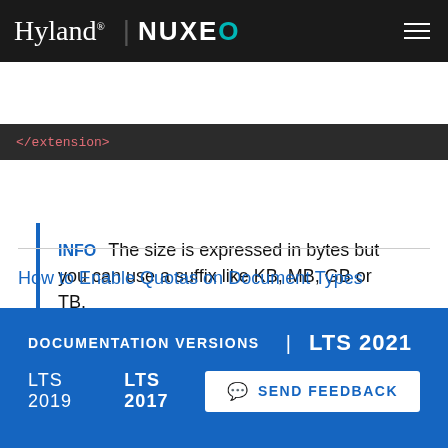Hyland | NUXEO
[Figure (screenshot): Code snippet showing </extension> in dark editor background]
INFO    The size is expressed in bytes but you can use a suffix like KB, MB, GB or TB.
How to Enable Quotas on Document Types
DOCUMENTATION VERSIONS | LTS 2021  LTS 2019  LTS 2017  SEND FEEDBACK